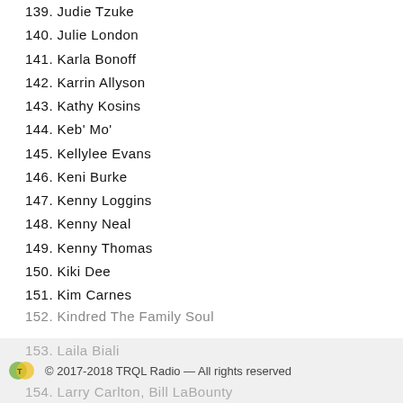139. Judie Tzuke
140. Julie London
141. Karla Bonoff
142. Karrin Allyson
143. Kathy Kosins
144. Keb' Mo'
145. Kellylee Evans
146. Keni Burke
147. Kenny Loggins
148. Kenny Neal
149. Kenny Thomas
150. Kiki Dee
151. Kim Carnes
152. Kindred The Family Soul
153. Laila Biali
© 2017-2018 TRQL Radio — All rights reserved
154. Larry Carlton, Bill LaBounty